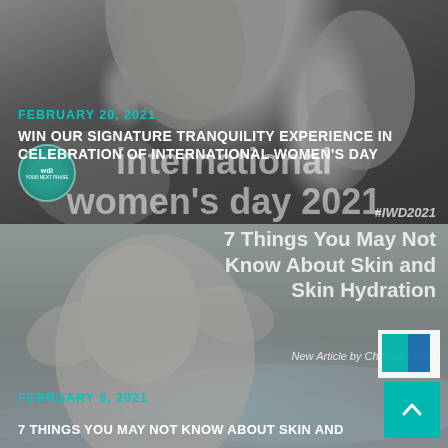[Figure (photo): Grayscale portrait photo of a woman, top half of page, dark background]
FEBRUARY 20, 2021
WIN OUR SIGNATURE TRANQUILITY EXPERIENCE IN CELEBRATION OF INTERNATIONAL WOMEN'S DAY
international
women's day 2021
#IWD2021
[Figure (photo): Grayscale photo of a woman in water/pool touching her hair, bottom half of page]
7 Things You May Not Know About Skin and Skin Hydration
New Article by Chrystal Hilton
FEBRUARY 5, 2021
7 THINGS YOU MAY NOT KNOW ABOUT SKIN AND